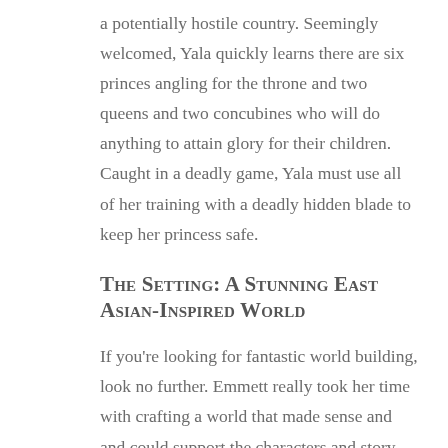a potentially hostile country. Seemingly welcomed, Yala quickly learns there are six princes angling for the throne and two queens and two concubines who will do anything to attain glory for their children. Caught in a deadly game, Yala must use all of her training with a deadly hidden blade to keep her princess safe.
The Setting: A Stunning East Asian-Inspired World
If you're looking for fantastic world building, look no further. Emmett really took her time with crafting a world that made sense and and could support the characters and story. Inspired by East Asian cultures, it painted a beautiful, yet deadly world centered on the court of Zhaon. The reader